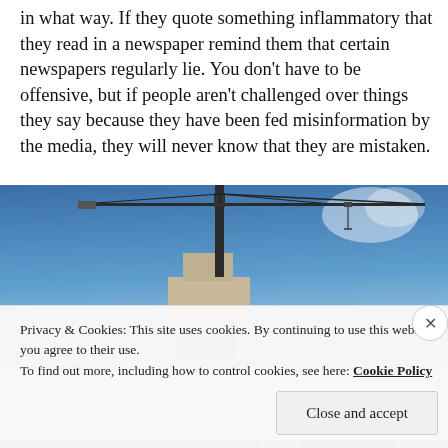in what way. If they quote something inflammatory that they read in a newspaper remind them that certain newspapers regularly lie. You don’t have to be offensive, but if people aren’t challenged over things they say because they have been fed misinformation by the media, they will never know that they are mistaken.
[Figure (photo): A construction crane above a building against a blue sky with wispy clouds]
Privacy & Cookies: This site uses cookies. By continuing to use this website, you agree to their use.
To find out more, including how to control cookies, see here: Cookie Policy
Close and accept